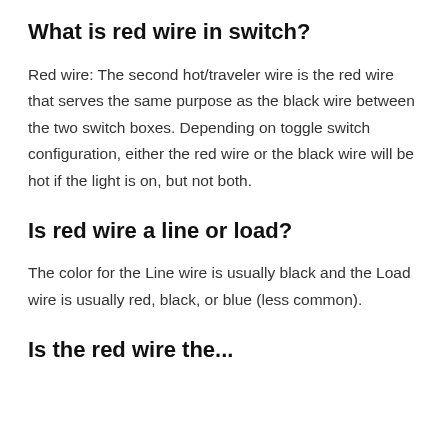What is red wire in switch?
Red wire: The second hot/traveler wire is the red wire that serves the same purpose as the black wire between the two switch boxes. Depending on toggle switch configuration, either the red wire or the black wire will be hot if the light is on, but not both.
Is red wire a line or load?
The color for the Line wire is usually black and the Load wire is usually red, black, or blue (less common).
Is the red wire the...